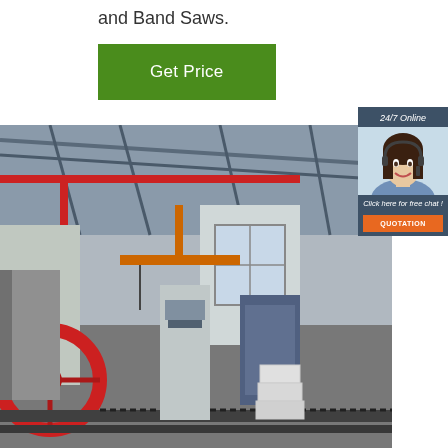and Band Saws.
[Figure (other): Green 'Get Price' button]
[Figure (photo): Factory floor interior showing industrial band saw machinery with red wheel mechanism, blue/grey equipment, cranes, and large open workshop space]
[Figure (other): 24/7 Online customer service chat widget with agent photo, 'Click here for free chat!' text, and orange QUOTATION button]